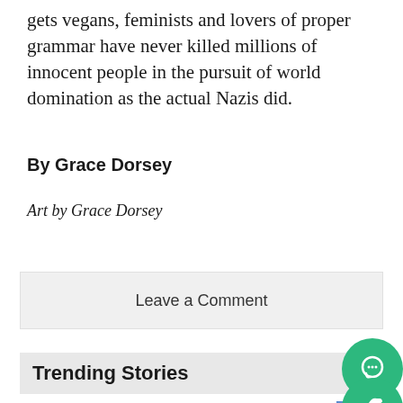gets vegans, feminists and lovers of proper grammar have never killed millions of innocent people in the pursuit of world domination as the actual Nazis did.
By Grace Dorsey
Art by Grace Dorsey
Leave a Comment
Trending Stories
1 Analyzing fashion in Howl's Moving Castle